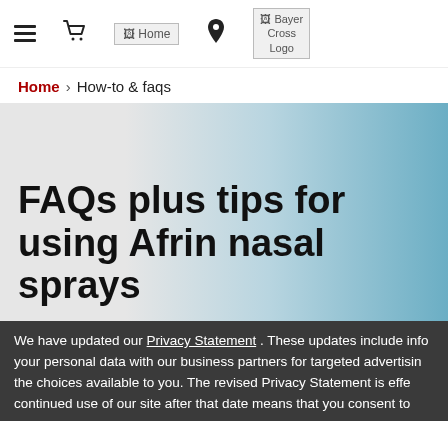[Figure (screenshot): Navigation bar with hamburger menu icon, shopping cart icon, Home image placeholder, location pin icon, and Bayer Cross Logo placeholder]
Home › How-to & faqs
FAQs plus tips for using Afrin nasal sprays
We have updated our Privacy Statement. These updates include info your personal data with our business partners for targeted advertisin the choices available to you. The revised Privacy Statement is effe continued use of our site after that date means that you consent to